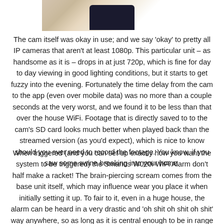[Figure (photo): Partial image of a hand holding a smartphone, cropped at top of page showing fingers and top portion of phone against white background]
The cam itself was okay in use; and we say 'okay' to pretty all IP cameras that aren't at least 1080p. This particular unit – as handsome as it is – drops in at just 720p, which is fine for day to day viewing in good lighting conditions, but it starts to get fuzzy into the evening. Fortunately the time delay from the cam to the app (even over mobile data) was no more than a couple seconds at the very worst, and we found it to be less than that over the house WiFi. Footage that is directly saved to to the cam's SD card looks much better when played back than the streamed version (as you'd expect), which is nice to know should you ever need to record the footage. You know, if you saw some swine breaking into your home.
When triggered (and you can set up exactly how you want the system to be triggered) the Smanos W020i WiFi Alarm don't half make a racket! The brain-piercing scream comes from the base unit itself, which may influence wear you place it when initially setting it up. To fair to it, even in a huge house, the alarm can be heard in a very drastic and 'oh shit oh shit oh shit' way anywhere, so as long as it is central enough to be in range of both the